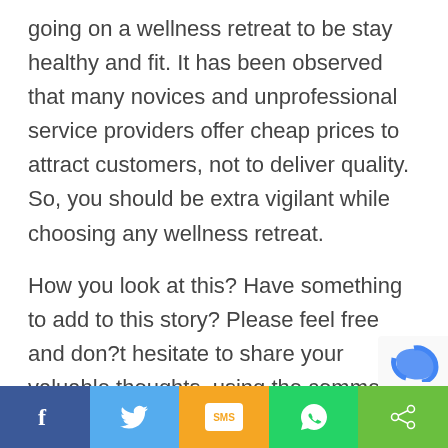going on a wellness retreat to be stay healthy and fit. It has been observed that many novices and unprofessional service providers offer cheap prices to attract customers, not to deliver quality. So, you should be extra vigilant while choosing any wellness retreat.
How you look at this? Have something to add to this story? Please feel free and don?t hesitate to share your valuable thoughts, using the comment box below.
[Figure (other): Social sharing bar with Facebook, Twitter, SMS, WhatsApp, and Share buttons]